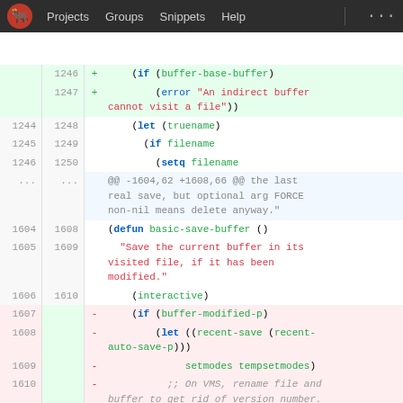Projects  Groups  Snippets  Help  ...
[Figure (screenshot): GitLab diff view showing code changes to an Emacs Lisp file. Added lines (green background): 1246 + (if (buffer-base-buffer), 1247 + (error "An indirect buffer cannot visit a file")). Context lines 1244-1246 / 1248-1250 showing let/if/setq. Hunk header for -1604,62 +1608,66. Context lines 1604-1606 / 1608-1610 showing defun basic-save-buffer, docstring, interactive. Deleted lines (red background): 1607 - (if (buffer-modified-p), 1608 - (let ((recent-save (recent-auto-save-p)), 1609 - setmodes tempsetmodes), 1610 - ;; On VMS, rename file and buffer to get rid of version number.]